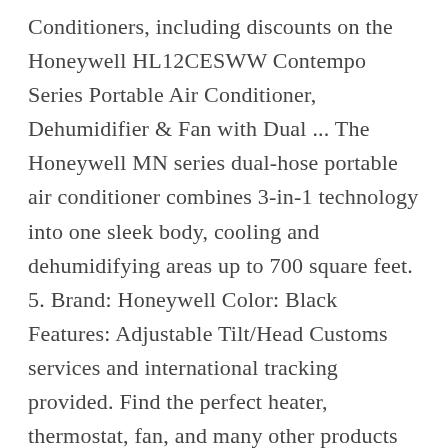Conditioners, including discounts on the Honeywell HL12CESWW Contempo Series Portable Air Conditioner, Dehumidifier & Fan with Dual ... The Honeywell MN series dual-hose portable air conditioner combines 3-in-1 technology into one sleek body, cooling and dehumidifying areas up to 700 square feet. 5. Brand: Honeywell Color: Black Features: Adjustable Tilt/Head Customs services and international tracking provided. Find the perfect heater, thermostat, fan, and many other products for your home or office, and find all of the replacement filters and pieces to keep them up and running. HT-900C; Fan size: 7" (17.7 cm) $24.99. Honeywell. 4.7 out of 5 stars 18 product ratings. Honeywell (Black MN14CCDBB Dual Hose Portable Air Conditioner with Dehumidifier, Fan Cools Rooms Up to 550 Sq.ft with Advanced LCD Display Dual Hose for Faster Cooling with Dual filtration system designed to protect from dust & hair to extend product life & performance. $44.99. This assistant for your own perfect for...